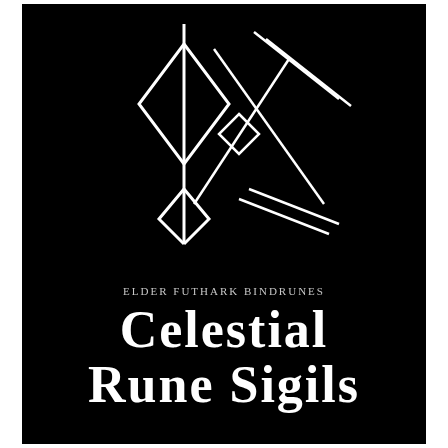[Figure (logo): Abstract white geometric bind rune sigil composed of overlapping diamond shapes, vertical lines with pointed ends (like stylized runes), and diagonal crossing lines, all rendered in white on black background.]
Elder Futhark BindRunes
Celestial Rune Sigils